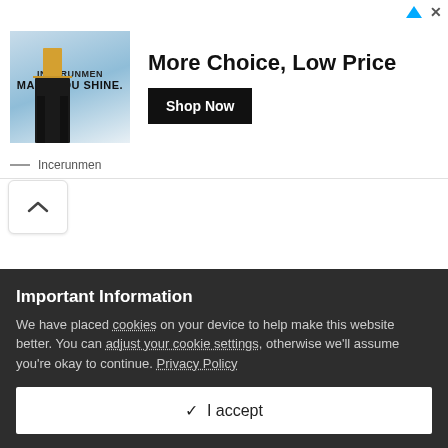[Figure (screenshot): Advertisement banner for Incerunmen clothing brand showing a person in yellow jacket and dark pants against a snowy background, with headline 'More Choice, Low Price' and a 'Shop Now' button.]
[Figure (screenshot): Scroll-up chevron button (^) in a white rounded box.]
Important Information
We have placed cookies on your device to help make this website better. You can adjust your cookie settings, otherwise we'll assume you're okay to continue. Privacy Policy
✓  I accept